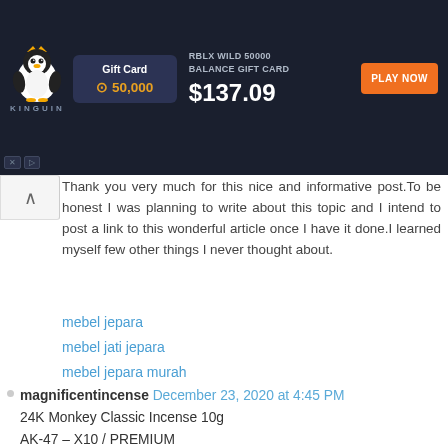[Figure (screenshot): Kinguin advertisement banner for RBLX Wild 50000 Balance Gift Card priced at $137.09 with a Play Now button on dark navy background]
Thank you very much for this nice and informative post.To be honest I was planning to write about this topic and I intend to post a link to this wonderful article once I have it done.I learned myself few other things I never thought about.
mebel jepara
mebel jati jepara
mebel jepara murah
toko mebel jepara
toko mebel
Reply
magnificentincense December 23, 2020 at 4:45 PM
24K Monkey Classic Incense 10g
AK-47 – X10 / PREMIUM